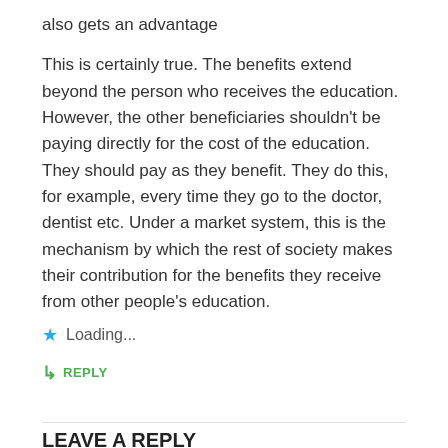also gets an advantage
This is certainly true. The benefits extend beyond the person who receives the education. However, the other beneficiaries shouldn't be paying directly for the cost of the education. They should pay as they benefit. They do this, for example, every time they go to the doctor, dentist etc. Under a market system, this is the mechanism by which the rest of society makes their contribution for the benefits they receive from other people's education.
★ Loading...
↳ REPLY
LEAVE A REPLY